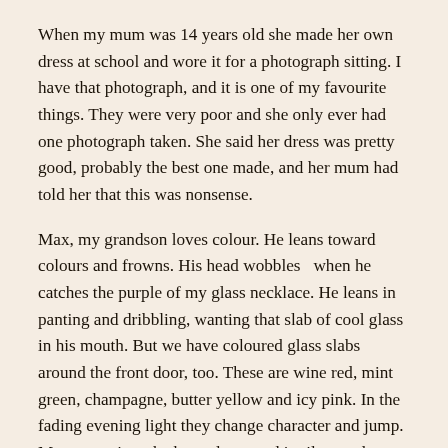When my mum was 14 years old she made her own dress at school and wore it for a photograph sitting. I have that photograph, and it is one of my favourite things. They were very poor and she only ever had one photograph taken. She said her dress was pretty good, probably the best one made, and her mum had told her that this was nonsense.
Max, my grandson loves colour. He leans toward colours and frowns. His head wobbles  when he catches the purple of my glass necklace. He leans in panting and dribbling, wanting that slab of cool glass in his mouth. But we have coloured glass slabs around the front door, too. These are wine red, mint green, champagne, butter yellow and icy pink. In the fading evening light they change character and jump. Max stares into the hot colours and is silent and noisy; breathing and ingesting colour. Soon the red becomes purple and the greens turn to blue. The yellow turns to cider. The pink fades to clear, cool water.  He stares for minute after minute at the thick glass, dripping with